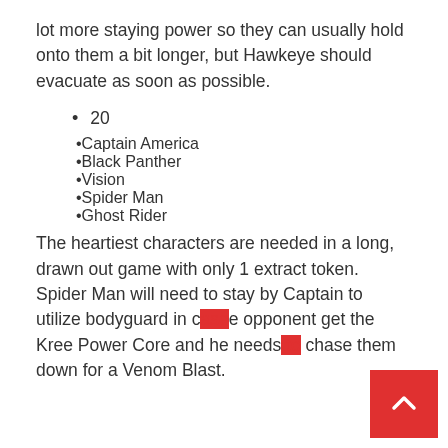lot more staying power so they can usually hold onto them a bit longer, but Hawkeye should evacuate as soon as possible.
20
Captain America
Black Panther
Vision
Spider Man
Ghost Rider
The heartiest characters are needed in a long, drawn out game with only 1 extract token. Spider Man will need to stay by Captain to utilize bodyguard in case opponent get the Kree Power Core and he needs to chase them down for a Venom Blast.